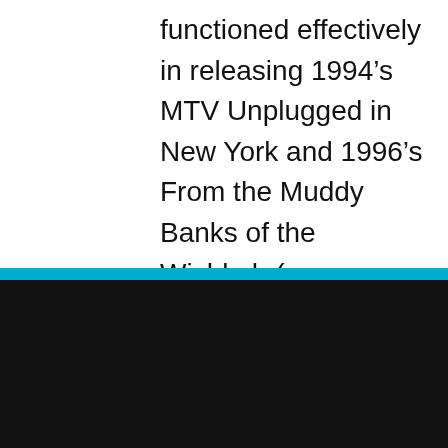functioned effectively in releasing 1994’s MTV Unplugged in New York and 1996’s From the Muddy Banks of the Wishkah (see
COOKIE NOTICE
We utilize cookie technology to collect data regarding the number of visits a person has made to our site. This data is stored in aggregate form and is in no way singled out in an individual file. This information allows us to know what pages/sites are of interest to our users and what pages/sites may be of less interest. See more